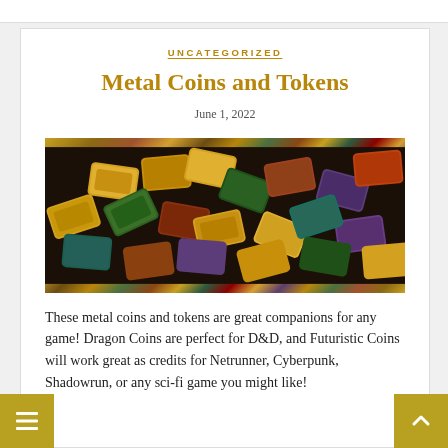UNCATEGORIZED
Metal Coins and Tokens
June 1, 2022
[Figure (photo): Pile of colorful metal coins and tokens in gold, green, purple, brown, and red colors, photographed from above]
These metal coins and tokens are great companions for any game! Dragon Coins are perfect for D&D, and Futuristic Coins will work great as credits for Netrunner, Cyberpunk, Shadowrun, or any sci-fi game you might like!